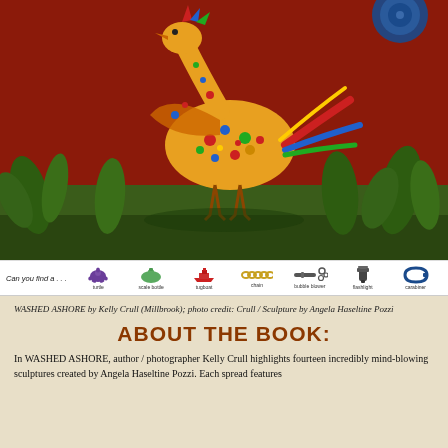[Figure (photo): Colorful bird sculpture made from ocean plastic waste, surrounded by green foliage against a red background. Sculpture by Angela Haseltine Pozzi.]
Can you find a . . . turtle, scale bottle, tugboat, chain, bubble blower, flashlight, carabiner
WASHED ASHORE by Kelly Crull (Millbrook); photo credit: Crull / Sculpture by Angela Haseltine Pozzi
ABOUT THE BOOK:
In WASHED ASHORE, author / photographer Kelly Crull highlights fourteen incredibly mind-blowing sculptures created by Angela Haseltine Pozzi. Each spread features